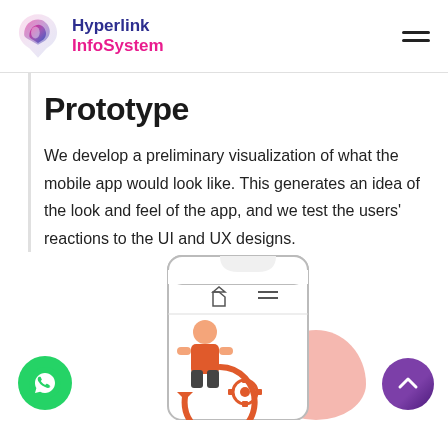[Figure (logo): Hyperlink InfoSystem logo with stylized 'S' icon in pink/purple gradient and company name in two colors: 'Hyperlink' in dark blue and 'InfoSystem' in pink]
Prototype
We develop a preliminary visualization of what the mobile app would look like. This generates an idea of the look and feel of the app, and we test the users’ reactions to the UI and UX designs.
[Figure (illustration): Illustration showing a mobile phone wireframe with a person figure in front of it, surrounded by circular arrows and gear icons indicating app development/prototyping process. Green WhatsApp button on bottom left, pink blob shape on right, purple scroll-to-top button on bottom right.]